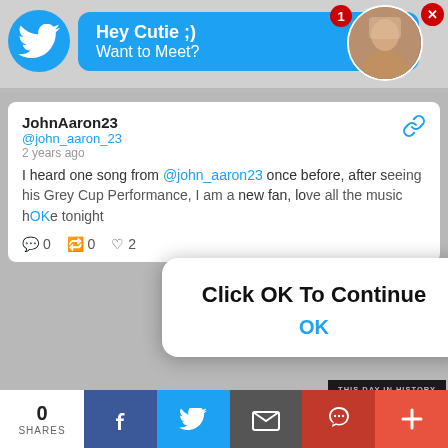[Figure (screenshot): Twitter app interface with notification popup showing 'Hey Cutie ;) Want to Meet?' in blue bubble, a tweet from JohnAaron23, a modal dialog 'Click OK To Continue', a 'This Day in History' video overlay, and a social share bar at bottom.]
Hey Cutie ;)
Want to Meet?
JohnAaron23
@john_aaron_23
2 years ago
I heard one song from @john_aaron23 once before, after seeing his Grey Cup Performance, I am a new fan, love all the music. tonight
Click OK To Continue
OK
THIS DAY IN HISTORY
11
AUGUST
0
SHARES